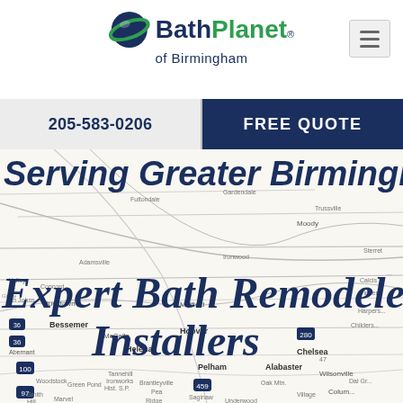[Figure (logo): Bath Planet of Birmingham logo with green planet icon and two-tone text]
205-583-0206
FREE QUOTE
Serving Greater Birmingham
[Figure (map): Road map of greater Birmingham Alabama area showing cities such as Bessemer, Hoover, McCalla, Helena, Pelham, Alabaster, Chelsea, Wilsonville, Columbiana and surrounding communities]
Expert Bath Remodelers & Bath Installers